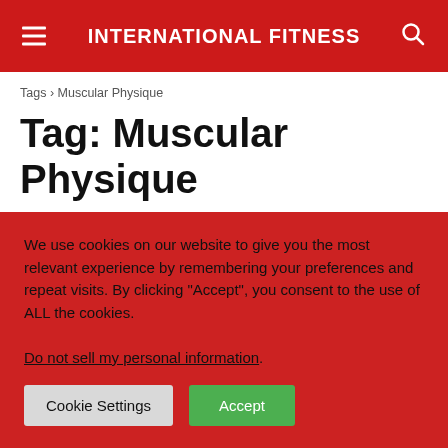INTERNATIONAL FITNESS
Tags › Muscular Physique
Tag: Muscular Physique
We use cookies on our website to give you the most relevant experience by remembering your preferences and repeat visits. By clicking “Accept”, you consent to the use of ALL the cookies.
Do not sell my personal information.
Cookie Settings  Accept